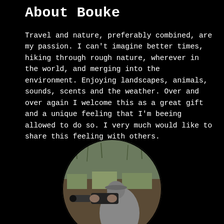About Bouke
Travel and nature, preferably combined, are my passion. I can't imagine better times, hiking through rough nature, wherever in the world, and merging into the environment. Enjoying landscapes, animals, sounds, scents and the weather. Over and over again I welcome this as a great gift and a unique feeling that I'm beeing allowed to do so. I very much would like to share this feeling with others.
[Figure (photo): Circular cropped photo of a person (Bouke) photographing wildlife in a nature setting with dry grass and sparse vegetation, seen from behind, holding a large camera with telephoto lens, wearing a grey cap.]